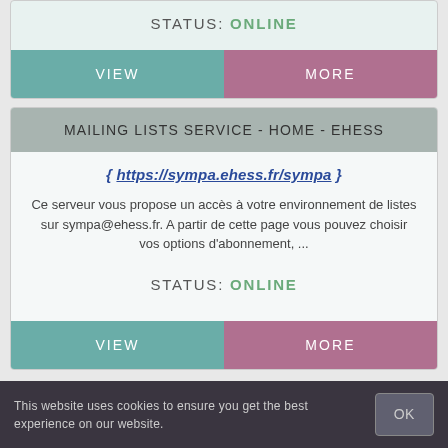STATUS: ONLINE
VIEW
MORE
MAILING LISTS SERVICE - HOME - EHESS
{ https://sympa.ehess.fr/sympa }
Ce serveur vous propose un accès à votre environnement de listes sur sympa@ehess.fr. A partir de cette page vous pouvez choisir vos options d'abonnement, ...
STATUS: ONLINE
VIEW
MORE
This website uses cookies to ensure you get the best experience on our website.